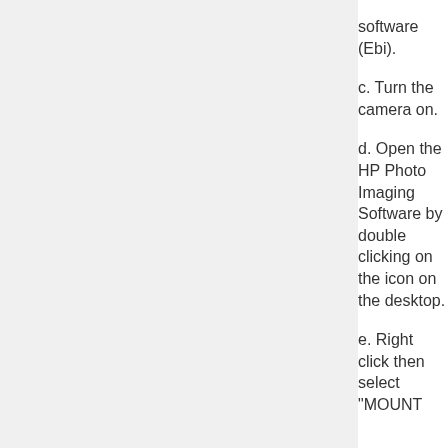software (Ebi).
c. Turn the camera on.
d. Open the HP Photo Imaging Software by double clicking on the icon on the desktop.
e. Right click then select "MOUNT